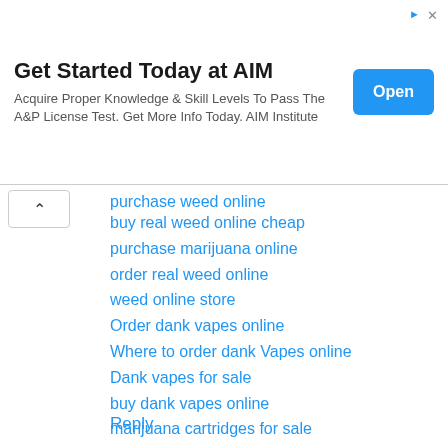[Figure (screenshot): Advertisement banner for AIM Institute with title 'Get Started Today at AIM', body text, and an Open button]
purchase weed online
buy real weed online cheap
purchase marijuana online
order real weed online
weed online store
Order dank vapes online
Where to order dank Vapes online
Dank vapes for sale
buy dank vapes online
marijuana cartridges for sale
buy cbd oil online
order cbd oil online
cbd oil for sale
dankwoods for sale
dankwoods
Reply